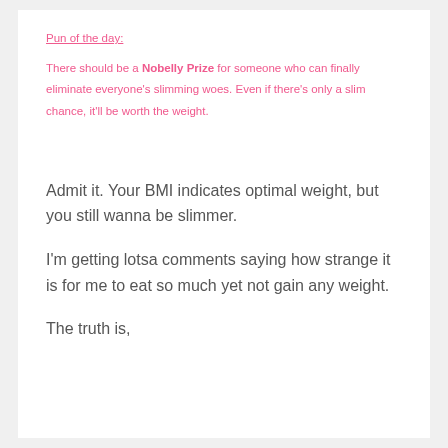Pun of the day:
There should be a Nobelly Prize for someone who can finally eliminate everyone's slimming woes. Even if there's only a slim chance, it'll be worth the weight.
Admit it. Your BMI indicates optimal weight, but you still wanna be slimmer.
I'm getting lotsa comments saying how strange it is for me to eat so much yet not gain any weight.
The truth is,